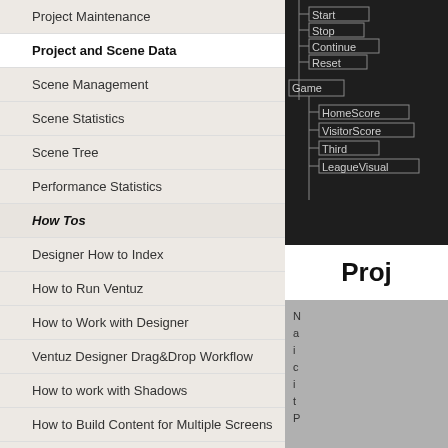Project Maintenance
Project and Scene Data
Scene Management
Scene Statistics
Scene Tree
Performance Statistics
How Tos
Designer How to Index
How to Run Ventuz
How to Work with Designer
Ventuz Designer Drag&Drop Workflow
How to work with Shadows
How to Build Content for Multiple Screens
How to Use Emoijs
How to Build a Template
How to Use the Color Difference Keyer
How To Use the HDR Engine
[Figure (screenshot): Dark tree view screenshot showing Start, Stop, Continue, Reset, Game, HomeScore, VisitorScore, Third, LeagueVisual nodes]
Proj
[Figure (screenshot): Gray content area with partial text]